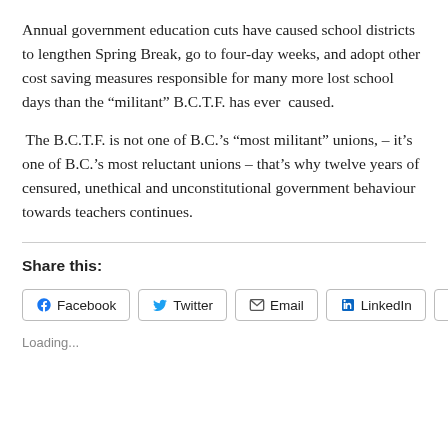Annual government education cuts have caused school districts to lengthen Spring Break, go to four-day weeks, and adopt other cost saving measures responsible for many more lost school days than the “militant” B.C.T.F. has ever  caused.
The B.C.T.F. is not one of B.C.’s “most militant” unions, – it’s one of B.C.’s most reluctant unions – that’s why twelve years of censured, unethical and unconstitutional government behaviour towards teachers continues.
Share this:
Loading...